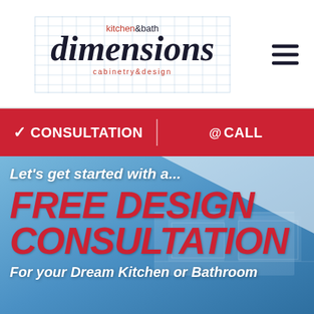[Figure (logo): Kitchen & Bath Dimensions cabinetry & design logo with grid background]
✓ CONSULTATION | @CALL
[Figure (photo): Blue-tinted kitchen interior background with overlaid promotional text: Let's get started with a... FREE DESIGN CONSULTATION For your Dream Kitchen or Bathroom]